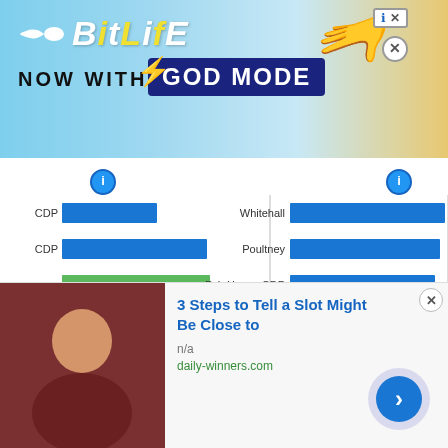[Figure (screenshot): BitLife advertisement banner with 'NOW WITH GOD MODE' text on blue/yellow background]
[Figure (bar-chart): Horizontal bar chart showing two panels of location data with blue and gray bars. Left panel shows partial location names ending in CDP, en, ey, all, es, ont. Right panel shows: Whitehall, Poultney, Fair Haven CDP, Ticonderoga CDP, Albany-Schenectady, United States, Benson CDP, Vermont]
[Figure (screenshot): Advertisement: '3 Steps to Tell a Slot Might Be Close to' with man photo, n/a, daily-winners.com]